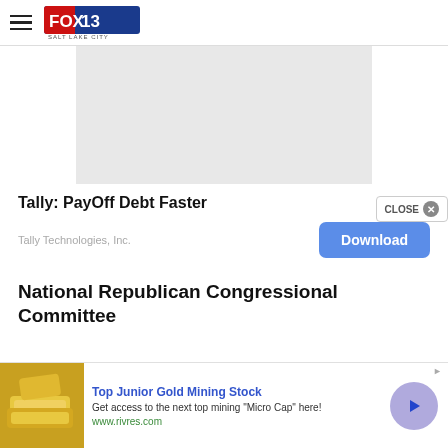FOX 13 SALT LAKE CITY
[Figure (other): Gray advertisement placeholder image]
Tally: PayOff Debt Faster
Tally Technologies, Inc.
Download
National Republican Congressional Committee
[Figure (other): Bottom banner advertisement: Top Junior Gold Mining Stock — Get access to the next top mining Micro Cap here! www.rivres.com]